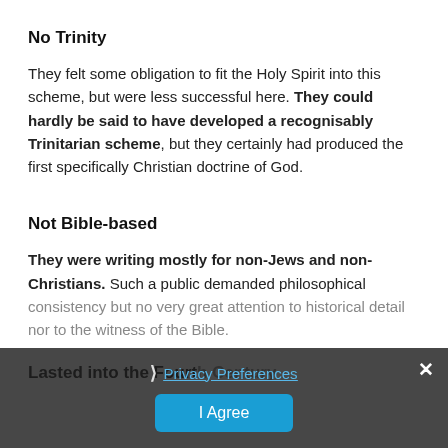No Trinity
They felt some obligation to fit the Holy Spirit into this scheme, but were less successful here. They could hardly be said to have developed a recognisably Trinitarian scheme, but they certainly had produced the first specifically Christian doctrine of God.
Not Bible-based
They were writing mostly for non-Jews and non-Christians. Such a public demanded philosophical consistency but no very great attention to historical detail nor to the witness of the Bible.
Lasted into the Fourth Century